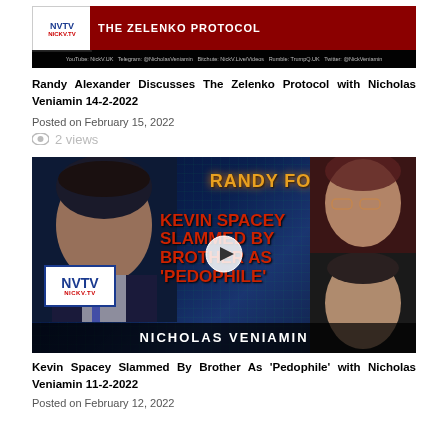[Figure (screenshot): NVTV thumbnail for 'The Zelenko Protocol' video with logo and social media links bar]
Randy Alexander Discusses The Zelenko Protocol with Nicholas Veniamin 14-2-2022
Posted on February 15, 2022
2 views
[Figure (screenshot): NVTV video thumbnail showing Randy Fowler and Nicholas Veniamin with text 'Kevin Spacey Slammed By Brother As Pedophile']
Kevin Spacey Slammed By Brother As 'Pedophile' with Nicholas Veniamin 11-2-2022
Posted on February 12, 2022